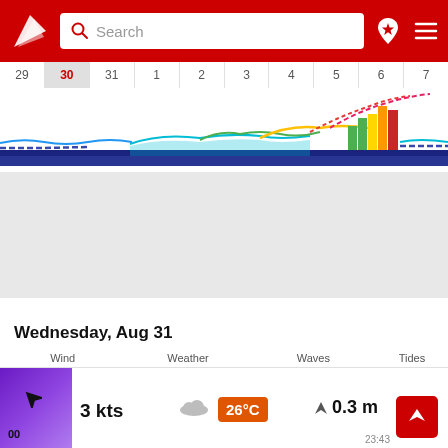[Figure (screenshot): Red app header with white logo (windsurfing/sailing arrow icon), search bar with magnifying glass icon and 'Search' placeholder text, location pin with star icon, and hamburger menu icon]
[Figure (continuous-plot): Horizontal timeline/calendar strip showing days 29, 30 (highlighted/selected in gray), 31, 1, 2, 3, 4, 5, 6, 7 with colored wave and wind forecast chart below the day numbers. Contains blue wave lines, cyan/teal wavy area, green and yellow bars, a rising multicolor dashed line peaking near day 5-6, and a dark navy baseline bar.]
Wednesday, Aug 31
Wind
Weather
Waves
Tides
3 kts
26°C
0.3 m
00
23:43